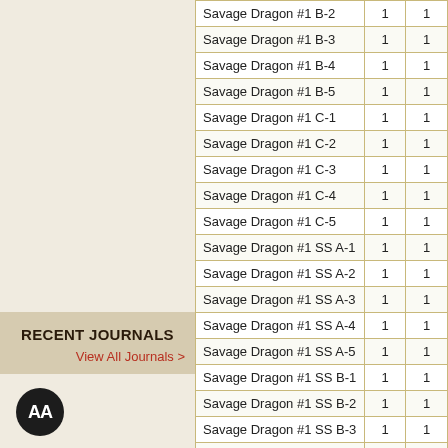| Item |  |  |
| --- | --- | --- |
| Savage Dragon #1 B-2 | 1 | 1 |
| Savage Dragon #1 B-3 | 1 | 1 |
| Savage Dragon #1 B-4 | 1 | 1 |
| Savage Dragon #1 B-5 | 1 | 1 |
| Savage Dragon #1 C-1 | 1 | 1 |
| Savage Dragon #1 C-2 | 1 | 1 |
| Savage Dragon #1 C-3 | 1 | 1 |
| Savage Dragon #1 C-4 | 1 | 1 |
| Savage Dragon #1 C-5 | 1 | 1 |
| Savage Dragon #1 SS A-1 | 1 | 1 |
| Savage Dragon #1 SS A-2 | 1 | 1 |
| Savage Dragon #1 SS A-3 | 1 | 1 |
| Savage Dragon #1 SS A-4 | 1 | 1 |
| Savage Dragon #1 SS A-5 | 1 | 1 |
| Savage Dragon #1 SS B-1 | 1 | 1 |
| Savage Dragon #1 SS B-2 | 1 | 1 |
| Savage Dragon #1 SS B-3 | 1 | 1 |
| Savage Dragon #1 SS B-4 | 1 | 1 |
| Savage Dragon #1 SS B-5 | 1 | 1 |
| Savage Dragon #1 SS C-1 | 1 | 1 |
| Savage Dragon #1 SS C-2 | 1 | 1 |
| Savage Dragon #1 SS C-3 | 1 | 1 |
| Savage Dragon #1 SS C-4 | 1 | 1 |
| Savage Dragon #1 SS C-5 | 1 | 1 |
RECENT JOURNALS
View All Journals >